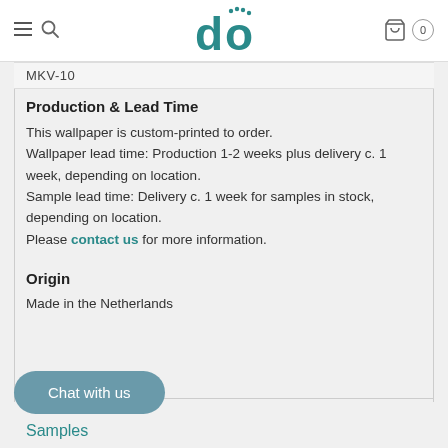do — navigation header with logo, hamburger menu, search, and cart (0)
MKV-10
Production & Lead Time
This wallpaper is custom-printed to order. Wallpaper lead time: Production 1-2 weeks plus delivery c. 1 week, depending on location. Sample lead time: Delivery c. 1 week for samples in stock, depending on location. Please contact us for more information.
Origin
Made in the Netherlands
Chat with us
Samples